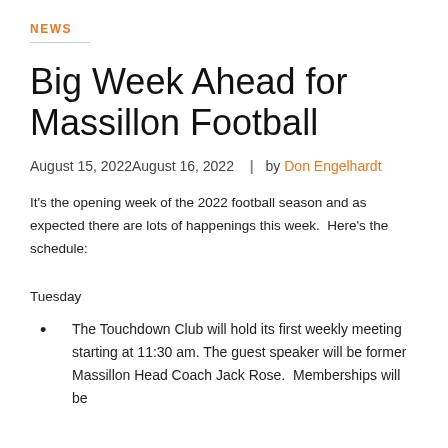NEWS
Big Week Ahead for Massillon Football
August 15, 2022August 16, 2022  |  by Don Engelhardt
It's the opening week of the 2022 football season and as expected there are lots of happenings this week.  Here's the schedule:
Tuesday
The Touchdown Club will hold its first weekly meeting starting at 11:30 am. The guest speaker will be former Massillon Head Coach Jack Rose.  Memberships will be